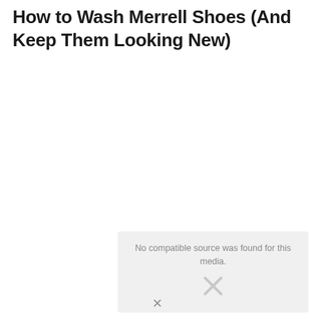How to Wash Merrell Shoes (And Keep Them Looking New)
[Figure (other): Video media placeholder with message 'No compatible source was found for this media.' and an X icon indicating failed media load.]